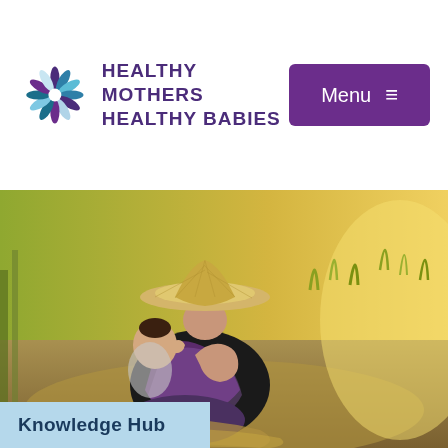[Figure (logo): Healthy Mothers Healthy Babies logo with a starburst/pinwheel icon in purple, teal, and light blue colors]
HEALTHY MOTHERS HEALTHY BABIES
[Figure (other): Purple rectangular Menu button with hamburger icon (three horizontal lines)]
[Figure (photo): A woman wearing a wide-brimmed straw hat and traditional black and purple plaid clothing, sitting in a grassy field, holding and looking at a baby. Golden field visible in the background.]
Knowledge Hub